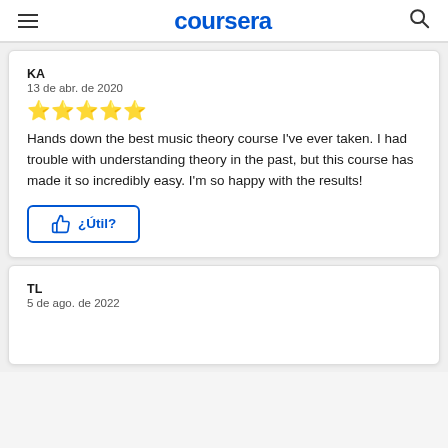coursera
KA
13 de abr. de 2020
★★★★★
Hands down the best music theory course I've ever taken. I had trouble with understanding theory in the past, but this course has made it so incredibly easy. I'm so happy with the results!
¿Útil?
TL
5 de ago. de 2022